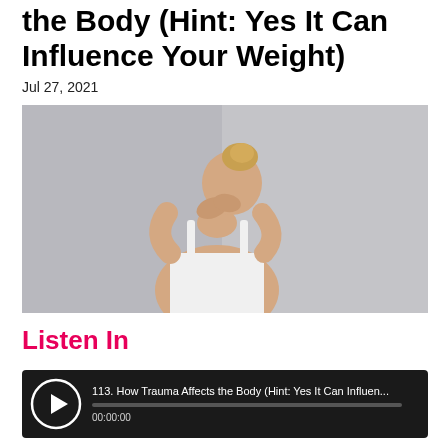the Body (Hint: Yes It Can Influence Your Weight)
Jul 27, 2021
[Figure (photo): Woman in white tank top seen from behind, hands clasped behind her neck, on a light grey background]
Listen In
[Figure (other): Audio player showing: 113. How Trauma Affects the Body (Hint: Yes It Can Influen... | 00:00:00]